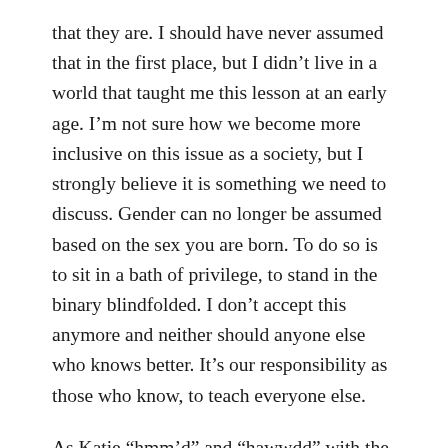that they are. I should have never assumed that in the first place, but I didn't live in a world that taught me this lesson at an early age. I'm not sure how we become more inclusive on this issue as a society, but I strongly believe it is something we need to discuss. Gender can no longer be assumed based on the sex you are born. To do so is to sit in a bath of privilege, to stand in the binary blindfolded. I don't accept this anymore and neither should anyone else who knows better. It's our responsibility as those who know, to teach everyone else.
As Katie “hmm’d” and “hawwdd” with the many reasons why she wanted to change, I continued to compliment how great she looked. I know this comes